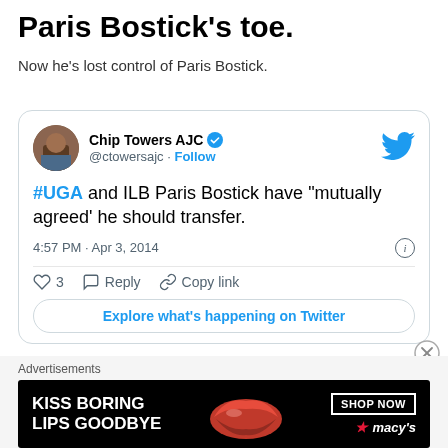Paris Bostick's toe.
Now he's lost control of Paris Bostick.
[Figure (screenshot): Embedded tweet from @ctowersajc (Chip Towers AJC, verified) reading: '#UGA and ILB Paris Bostick have "mutually agreed" he should transfer.' Posted 4:57 PM · Apr 3, 2014. 3 likes. Actions: Reply, Copy link. Button: Explore what's happening on Twitter.]
[Figure (advertisement): Macy's ad banner with text 'KISS BORING LIPS GOODBYE' and 'SHOP NOW' button with Macy's star logo and red lips graphic.]